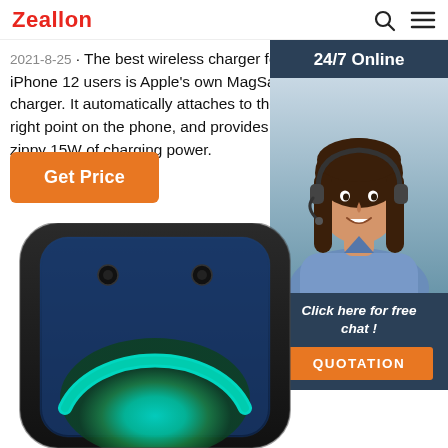Zeallon
2021-8-25 · The best wireless charger for iPhone 12 users is Apple's own MagSafe charger. It automatically attaches to the right point on the phone, and provides a zippy 15W of charging power.
Get Price
[Figure (photo): Customer service agent woman wearing headset, with 24/7 Online label and QUOTATION button, dark blue sidebar panel]
[Figure (photo): Close-up of a blue Bluetooth speaker product with black frame and colorful LED light ring at the bottom]